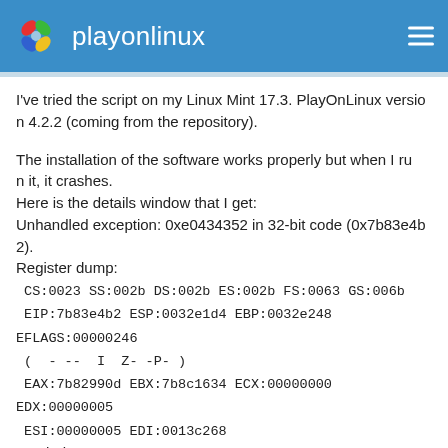playonlinux
I've tried the script on my Linux Mint 17.3. PlayOnLinux version 4.2.2 (coming from the repository).
The installation of the software works properly but when I run it, it crashes.
Here is the details window that I get:
Unhandled exception: 0xe0434352 in 32-bit code (0x7b83e4b2).
Register dump:
 CS:0023 SS:002b DS:002b ES:002b FS:0063 GS:006b
 EIP:7b83e4b2 ESP:0032e1d4 EBP:0032e248 EFLAGS:00000246(  - --  I  Z- -P- )
 EAX:7b82990d EBX:7b8c1634 ECX:00000000 EDX:00000005
 ESI:00000005 EDI:0013c268
Stack dump:
0x0032e1d4:  0032e2a8 00000014 7923b348 e0434352
0x0032e1e4:  00000001 00000000 7b83e4b2 00000005
0x0032e1f4:  80131501 00000000 00000000 00000000
0x0032e204:  7b148000 00000000 0030...